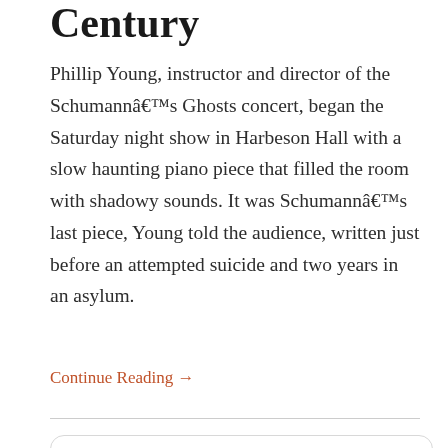Century
Phillip Young, instructor and director of the Schumannâ€™s Ghosts concert, began the Saturday night show in Harbeson Hall with a slow haunting piano piece that filled the room with shadowy sounds. It was Schumannâ€™s last piece, Young told the audience, written just before an attempted suicide and two years in an asylum.
Continue Reading →
[Figure (screenshot): Tweets from @pcccourier widget with Follow button and scroll-up orange button]